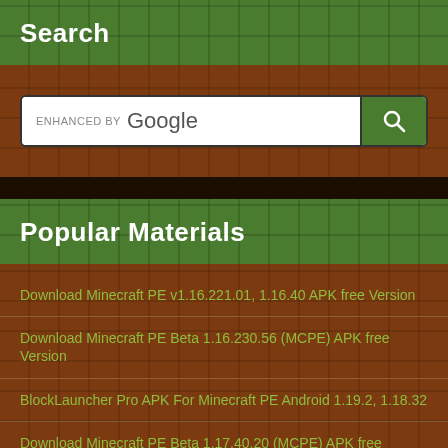Search
[Figure (screenshot): Google search bar with ENHANCED BY Google text and search button]
Popular Materials
Download Minecraft PE v1.16.221.01, 1.16.40 APK free Version
Download Minecraft PE Beta 1.16.230.56 (MCPE) APK free Version
BlockLauncher Pro APK For Minecraft PE Android 1.19.2, 1.18.32
Download Minecraft PE Beta 1.17.40.20 (MCPE) APK free Version
Download Minecraft PE 1.19.10, 1.18.32 apk Latest free
Download Minecraft PE 1.17.41.01 APK free Version